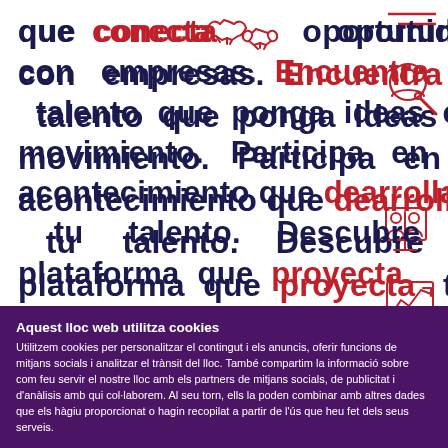que conecta [handshake icon] oportunidades con empresas. Encuentra [search icon] talento que ponga ideas en movimiento. Participa en el acontecimiento que dearrolla [keyboard icon] tu talento. Descubre la plataforma que proyecta [chart icon] tu
Aquest lloc web utilitza cookies
Utilitzem cookies per personalitzar el contingut i els anuncis, oferir funcions de mitjans socials i analitzar el trànsit del lloc. També compartim la informació sobre com feu servir el nostre lloc amb els partners de mitjans socials, de publicitat i d'anàlisis amb qui col·laborem. Al seu torn, ells la poden combinar amb altres dades que els hàgiu proporcionat o hagin recopilat a partir de l'ús que heu fet dels seus serveis.